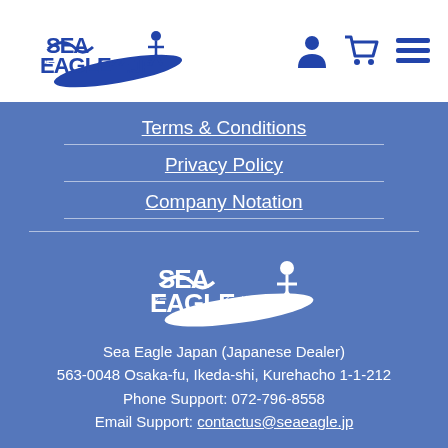[Figure (logo): Sea Eagle JP logo in blue on white header bar]
Sea Eagle JP website header with logo and navigation icons
Terms & Conditions
Privacy Policy
Company Notation
[Figure (logo): Sea Eagle JP white logo on blue background]
Sea Eagle Japan (Japanese Dealer)
563-0048 Osaka-fu, Ikeda-shi, Kurehacho 1-1-212
Phone Support: 072-796-8558
Email Support: contactus@seaeagle.jp